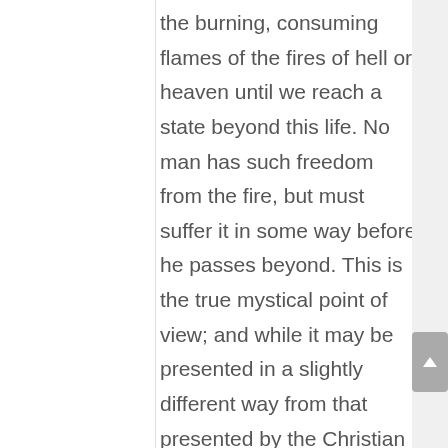the burning, consuming flames of the fires of hell or heaven until we reach a state beyond this life. No man has such freedom from the fire, but must suffer it in some way before he passes beyond. This is the true mystical point of view; and while it may be presented in a slightly different way from that presented by the Christian doctrines, or other religions, it is not inconsistent with what was taught by the Master Jesus, or the great Avatars of the past. We must bear in mind that Jesus reminded His Disciples